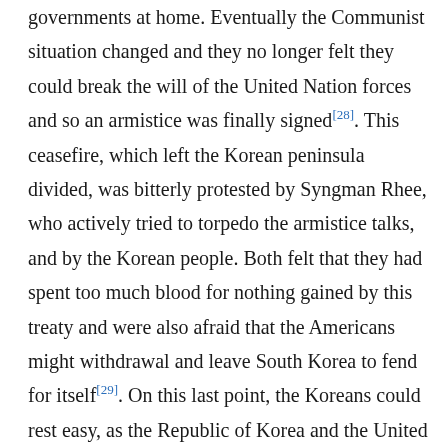governments at home. Eventually the Communist situation changed and they no longer felt they could break the will of the United Nation forces and so an armistice was finally signed[28]. This ceasefire, which left the Korean peninsula divided, was bitterly protested by Syngman Rhee, who actively tried to torpedo the armistice talks, and by the Korean people. Both felt that they had spent too much blood for nothing gained by this treaty and were also afraid that the Americans might withdrawal and leave South Korea to fend for itself[29]. On this last point, the Koreans could rest easy, as the Republic of Korea and the United States signed a Mutual Security Treaty, which included an agreement to expand the South Korean Army at American expense and gave long term economic aid with a $200,000,000 down payment and